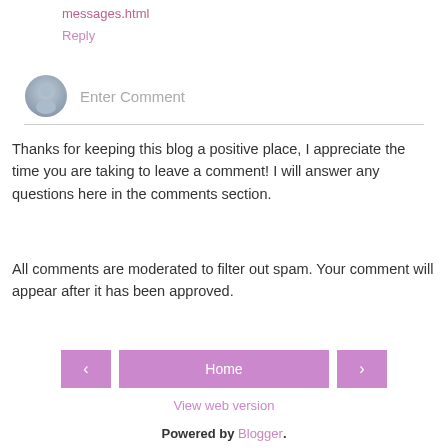messages.html
Reply
[Figure (other): User avatar placeholder circle with silhouette and Enter Comment input field]
Thanks for keeping this blog a positive place, I appreciate the time you are taking to leave a comment! I will answer any questions here in the comments section.
All comments are moderated to filter out spam. Your comment will appear after it has been approved.
[Figure (other): Navigation buttons: left arrow, Home (center), right arrow — all in pink/mauve color]
View web version
Powered by Blogger.